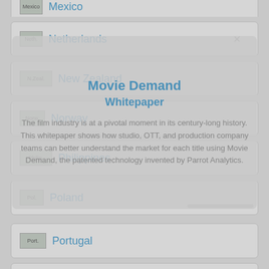Mexico
Netherlands
New Zealand
Norway
Philippines
Poland
Portugal
Russia
South Africa
Movie Demand Whitepaper
The film industry is at a pivotal moment in its century-long history. This whitepaper shows how studio, OTT, and production company teams can better understand the market for each title using Movie Demand, the patented technology invented by Parrot Analytics.